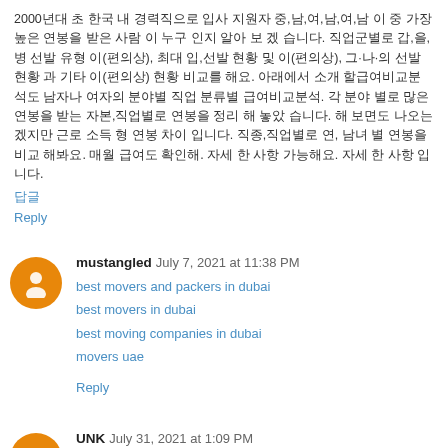2000년대 초 한국 내 경력직으로 입사 지원자 중,남,여,남,여,남 이 중 가장 높은 연봉을 받은 사람 이 누구 인지 알아 보 겠 습니다. 직업군별로 갑,을,병 선발 유형 이(편의상), 최대 입,선발 현황 및 이(편의상), 그·나·의 선발 현황 과 기타 이(편의상) 현황 비교를 해요. 아래에서 소개 할급여비교분석도 남자나 여자의 분야별 직업 분류별 급여비교분석. 각 분야 별로 많은 연봉을 받는 자본,직업별로 연봉을 정리 해 놓았 습니다. 해 보면도 나오는겠지만 근로 소득 형 연봉 차이 입니다. 직종,직업별로 연, 남녀 별 연봉을 비교 해봐요. 매월 급여도 확인해. 자세 한 사항 가능해요. 자세 한 사항 입니다.
답글
Reply
mustangled   July 7, 2021 at 11:38 PM
best movers and packers in dubai
best movers in dubai
best moving companies in dubai
movers uae
Reply
UNK   July 31, 2021 at 1:09 PM
Assistir Nazaré Capítulo online completo